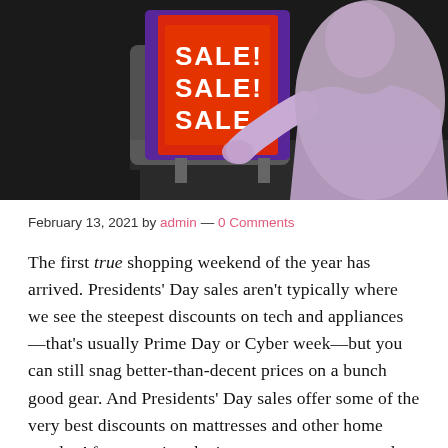[Figure (photo): Black and white retro photo of a person in a robe/coat looking at an old television set. The TV screen is colorized in vivid red, blue, and orange hues showing text that reads 'SALE! SALE! SALE!']
February 13, 2021 by admin — 0 Comments
The first true shopping weekend of the year has arrived. Presidents' Day sales aren't typically where we see the steepest discounts on tech and appliances—that's usually Prime Day or Cyber week—but you can still snag better-than-decent prices on a bunch good gear. And Presidents' Day sales offer some of the very best discounts on mattresses and other home goods. After scanning the internet commerce portals far and wide, here's the list of Presidents' Day sales we've found that are actually worth your time.